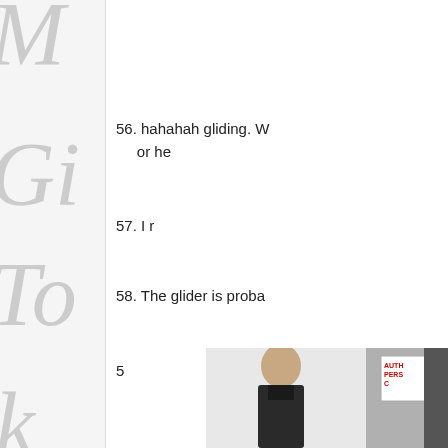56. hahahah gliding. W... or he...
57. I r...
58. The glider is proba...
59. ...
[Figure (photo): A man in dark clothing standing near a white wall with a sign reading AUTH- PERS- C-]